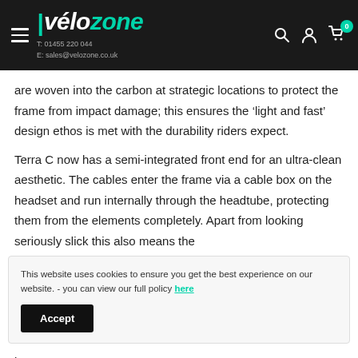vélozone | T: 01455 220 044 | E: sales@velozone.co.uk
are woven into the carbon at strategic locations to protect the frame from impact damage; this ensures the 'light and fast' design ethos is met with the durability riders expect.
Terra C now has a semi-integrated front end for an ultra-clean aesthetic. The cables enter the frame via a cable box on the headset and run internally through the headtube, protecting them from the elements completely. Apart from looking seriously slick this also means the
This website uses cookies to ensure you get the best experience on our website. - you can view our full policy here
bar & stem.